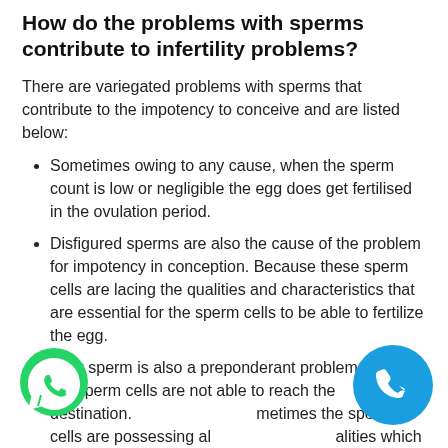How do the problems with sperms contribute to infertility problems?
There are variegated problems with sperms that contribute to the impotency to conceive and are listed below:
Sometimes owing to any cause, when the sperm count is low or negligible the egg does get fertilised in the ovulation period.
Disfigured sperms are also the cause of the problem for impotency in conception. Because these sperm cells are lacing the qualities and characteristics that are essential for the sperm cells to be able to fertilize the egg.
Lazy sperm is also a preponderant problem in which the sperm cells are not able to reach the destination. Sometimes the sperm cells are possessing all qualities which are necessary to fertilise the egg because of some reason, they die in their journey to